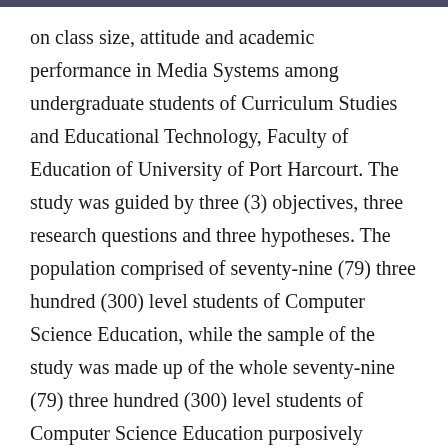on class size, attitude and academic performance in Media Systems among undergraduate students of Curriculum Studies and Educational Technology, Faculty of Education of University of Port Harcourt. The study was guided by three (3) objectives, three research questions and three hypotheses. The population comprised of seventy-nine (79) three hundred (300) level students of Computer Science Education, while the sample of the study was made up of the whole seventy-nine (79) three hundred (300) level students of Computer Science Education purposively selected by the researcher. The research